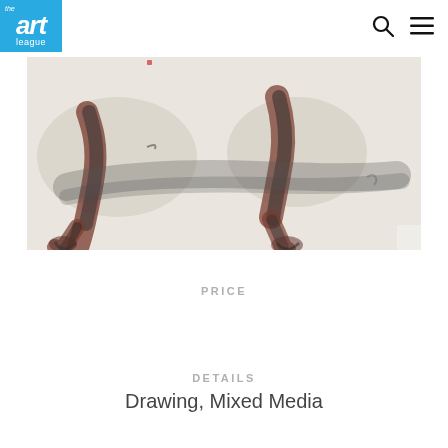the art league
[Figure (illustration): Charcoal and mixed media drawing showing two pairs of animal legs and paws/hooves on a light background, with dark grey and reddish-brown marks.]
PRICE
DETAILS
Drawing, Mixed Media